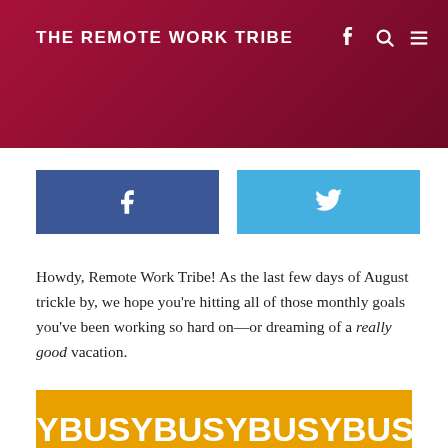THE REMOTE WORK TRIBE
[Figure (other): Facebook and Twitter social share buttons side by side]
Howdy, Remote Work Tribe! As the last few days of August trickle by, we hope you're hitting all of those monthly goals you've been working so hard on—or dreaming of a really good vacation.
[Figure (other): Yellow banner with repeating white text YBUSYBUSYBUSYBUSYBUSYB]